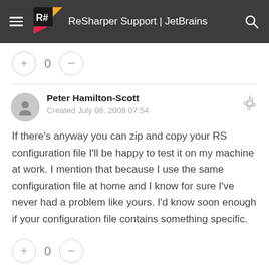ReSharper Support | JetBrains
0
Peter Hamilton-Scott
Created July 08, 2008 07:54
If there’s anyway you can zip and copy your RS configuration file I’ll be happy to test it on my machine at work. I mention that because I use the same configuration file at home and I know for sure I’ve never had a problem like yours. I’d know soon enough if your configuration file contains something specific.
0